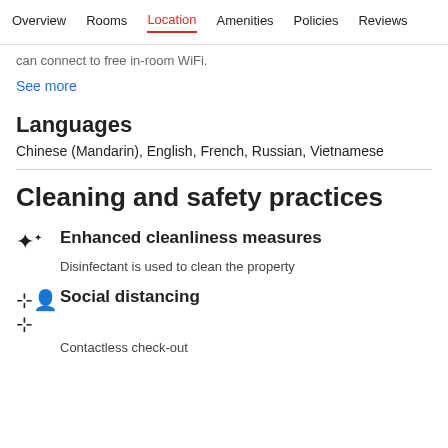Overview  Rooms  Location  Amenities  Policies  Reviews
can connect to free in-room WiFi.
See more
Languages
Chinese (Mandarin), English, French, Russian, Vietnamese
Cleaning and safety practices
Enhanced cleanliness measures
Disinfectant is used to clean the property
Social distancing
Contactless check-out